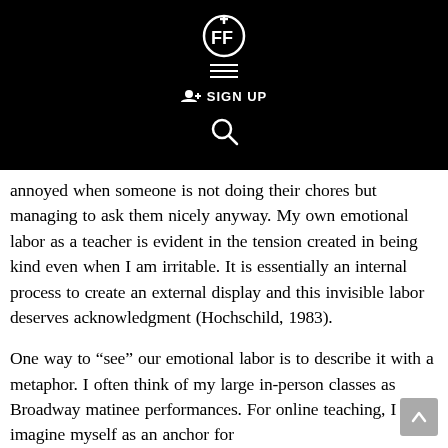[Figure (logo): Website header with logo (FF icon), hamburger menu, SIGN UP button, and search icon on black background]
annoyed when someone is not doing their chores but managing to ask them nicely anyway. My own emotional labor as a teacher is evident in the tension created in being kind even when I am irritable. It is essentially an internal process to create an external display and this invisible labor deserves acknowledgment (Hochschild, 1983).
One way to “see” our emotional labor is to describe it with a metaphor. I often think of my large in-person classes as Broadway matinee performances. For online teaching, I imagine myself as an anchor for